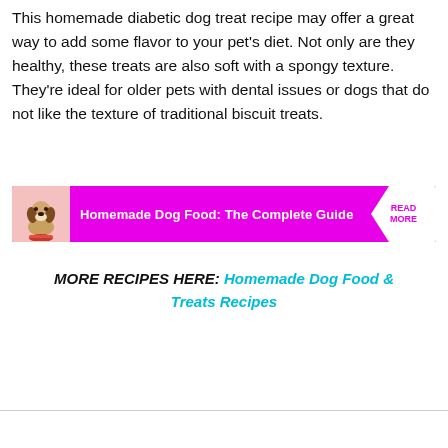This homemade diabetic dog treat recipe may offer a great way to add some flavor to your pet's diet. Not only are they healthy, these treats are also soft with a spongy texture. They're ideal for older pets with dental issues or dogs that do not like the texture of traditional biscuit treats.
[Figure (infographic): Pink banner advertisement reading 'Homemade Dog Food: The Complete Guide' with a cartoon beagle dog on the left and 'READ MORE' on the right side in a white chevron arrow.]
MORE RECIPES HERE: Homemade Dog Food & Treats Recipes